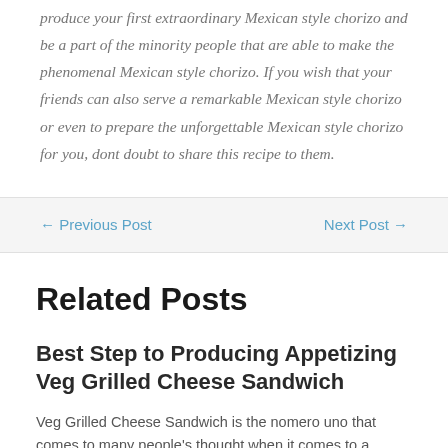produce your first extraordinary Mexican style chorizo and be a part of the minority people that are able to make the phenomenal Mexican style chorizo. If you wish that your friends can also serve a remarkable Mexican style chorizo or even to prepare the unforgettable Mexican style chorizo for you, dont doubt to share this recipe to them.
← Previous Post
Next Post →
Related Posts
Best Step to Producing Appetizing Veg Grilled Cheese Sandwich
Veg Grilled Cheese Sandwich is the nomero uno that comes to many people's thought when it comes to a delightful meal